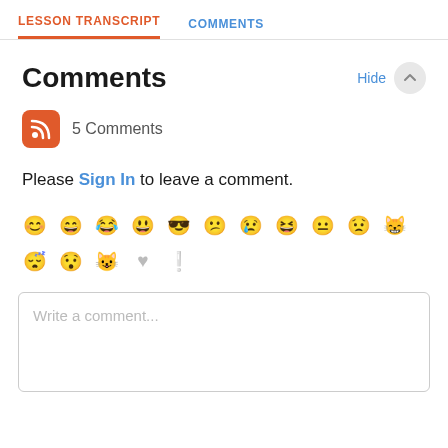LESSON TRANSCRIPT   COMMENTS
Comments
5 Comments
Please Sign In to leave a comment.
[Figure (other): Emoji picker row with various emotion icons in light gray]
Write a comment...